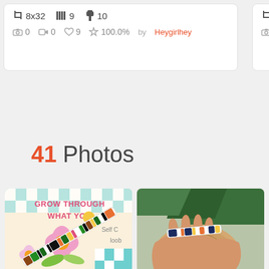[Figure (screenshot): Top portion of a website UI showing two pattern cards with metadata. Left card shows: crop icon 8x32, bars icon 9, pin icon 10, camera icon 0, video icon 0, heart icon 9, star icon 100.0%, by Heygirlhey (orange link). Right card shows: crop icon 8x24, bars icon partially visible.]
41 Photos
[Figure (photo): Photo of a colorful beaded bracelet laid on a colorful illustrated background with text 'Grow Through What You' and flowers. The bracelet has green, black, white and multicolor bead patterns.]
[Figure (photo): Photo of a beaded bracelet being held in a hand against a wooden slice background with green pine branches. The bracelet has dark navy, white and multicolor sections.]